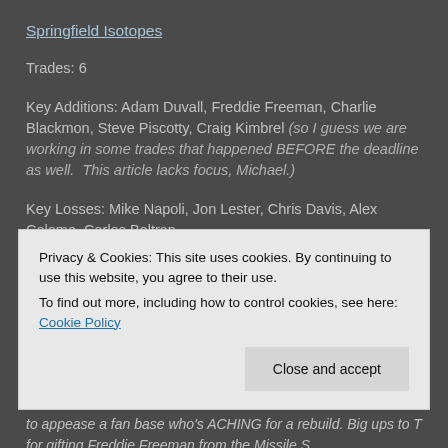Springfield Isotopes
Trades: 6
Key Additions: Adam Duvall, Freddie Freeman, Charlie Blackmon, Steve Piscotty, Craig Kimbrel (so I guess we are working in some trades that happened BEFORE the deadline as well. This article lacks focus, Michael.)
Key Losses: Mike Napoli, Jon Lester, Chris Davis, Alex Colome, Carlos Beltran
Remarks: Ok, so on the surface, the +/- of the moves he
Privacy & Cookies: This site uses cookies. By continuing to use this website, you agree to their use.
To find out more, including how to control cookies, see here: Cookie Policy
to appease a fan base who's ACHING for a rebuild. Big ups to T for gifting Freddie Freeman from the Missile S...